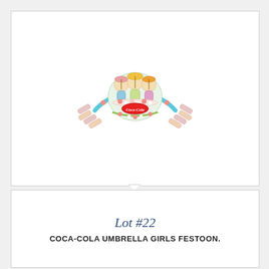[Figure (photo): Vintage Coca-Cola Umbrella Girls Festoon advertising piece showing Victorian-era women with parasols and decorative floral garland elements in a fan/crown arrangement with a Coca-Cola oval logo in the center.]
Lot #22
COCA-COLA UMBRELLA GIRLS FESTOON.